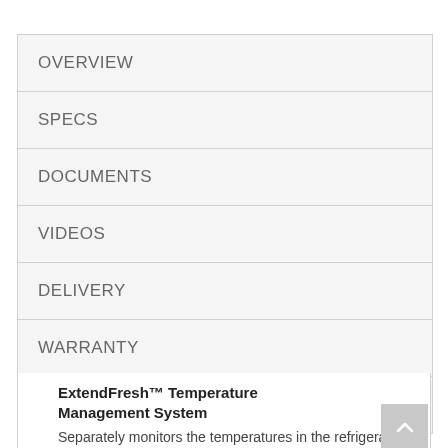OVERVIEW
SPECS
DOCUMENTS
VIDEOS
DELIVERY
WARRANTY
REVIEWS (80)
ExtendFresh™ Temperature Management System
Separately monitors the temperatures in the refrigerator